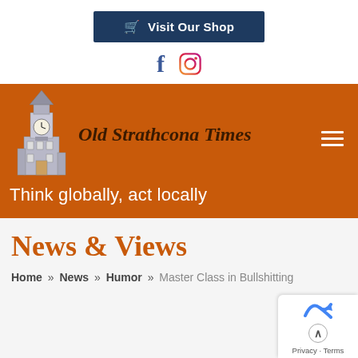[Figure (other): Visit Our Shop button with shopping cart icon on dark navy background]
[Figure (other): Social media icons: Facebook (f) in blue and Instagram camera icon in pink/purple]
[Figure (logo): Old Strathcona Times logo with clock tower illustration and italic serif wordmark on orange background, hamburger menu icon on right]
Think globally, act locally
News & Views
Home » News » Humor » Master Class in Bullshitting